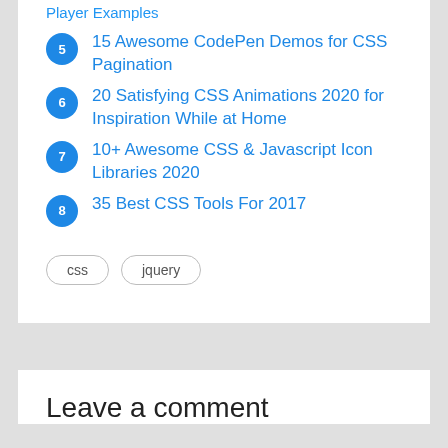Player Examples
15 Awesome CodePen Demos for CSS Pagination
20 Satisfying CSS Animations 2020 for Inspiration While at Home
10+ Awesome CSS & Javascript Icon Libraries 2020
35 Best CSS Tools For 2017
css  jquery
Leave a comment